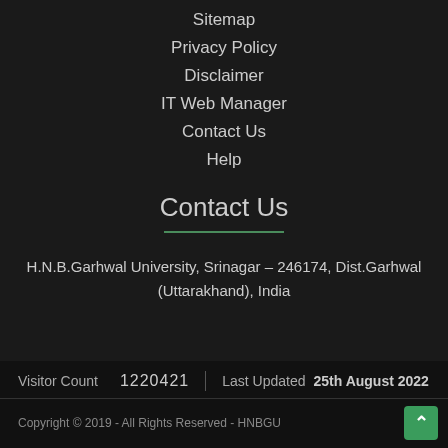Sitemap
Privacy Policy
Disclaimer
IT Web Manager
Contact Us
Help
Contact Us
H.N.B.Garhwal University, Srinagar – 246174, Dist.Garhwal (Uttarakhand), India
Visitor Count  1220421  |  Last Updated  25th August 2022  Copyright © 2019 - All Rights Reserved - HNBGU